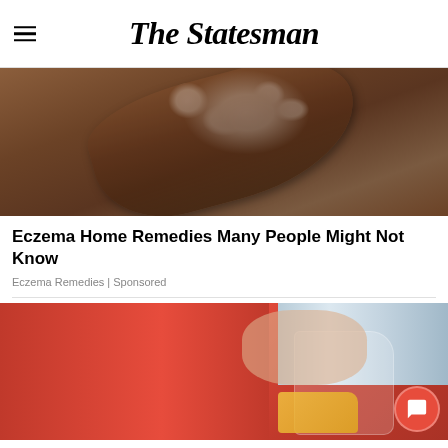The Statesman
[Figure (photo): Close-up photo of kefir grains on a wooden spoon against a rustic wooden background]
Eczema Home Remedies Many People Might Not Know
Eczema Remedies | Sponsored
[Figure (photo): Person in red jacket pouring liquid from a glass pitcher, with a striped sleeve visible, orange chat bubble icon in lower right]